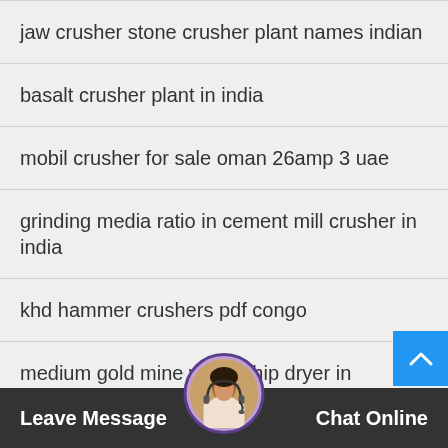jaw crusher stone crusher plant names indian
basalt crusher plant in india
mobil crusher for sale oman 26amp 3 uae
grinding media ratio in cement mill crusher in india
khd hammer crushers pdf congo
medium gold mine wood chip dryer in Kathmandu ...
vibratory screens in jakarta
Leave Message   Chat Online